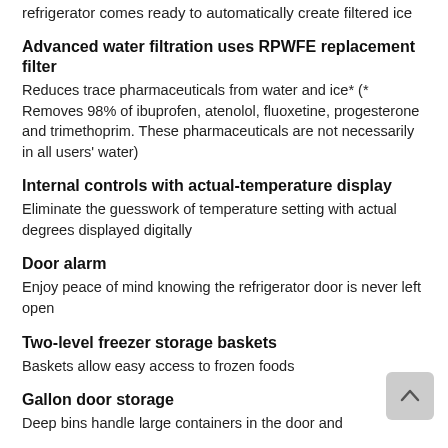refrigerator comes ready to automatically create filtered ice
Advanced water filtration uses RPWFE replacement filter
Reduces trace pharmaceuticals from water and ice* (* Removes 98% of ibuprofen, atenolol, fluoxetine, progesterone and trimethoprim. These pharmaceuticals are not necessarily in all users' water)
Internal controls with actual-temperature display
Eliminate the guesswork of temperature setting with actual degrees displayed digitally
Door alarm
Enjoy peace of mind knowing the refrigerator door is never left open
Two-level freezer storage baskets
Baskets allow easy access to frozen foods
Gallon door storage
Deep bins handle large containers in the door and